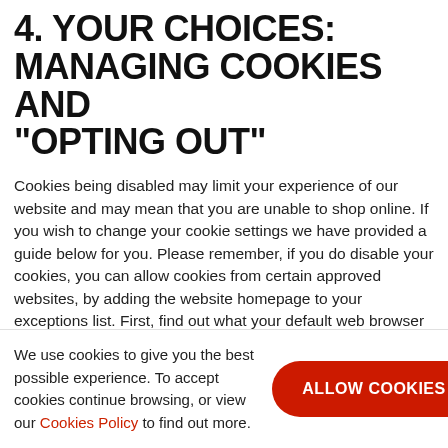4. YOUR CHOICES: MANAGING COOKIES AND "OPTING OUT"
Cookies being disabled may limit your experience of our website and may mean that you are unable to shop online. If you wish to change your cookie settings we have provided a guide below for you. Please remember, if you do disable your cookies, you can allow cookies from certain approved websites, by adding the website homepage to your exceptions list. First, find out what your default web browser is on your machine, or the browser you use most often to access the internet.
We use cookies to give you the best possible experience. To accept cookies continue browsing, or view our Cookies Policy to find out more.